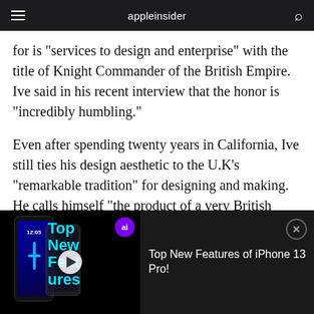appleinsider
for is "services to design and enterprise" with the title of Knight Commander of the British Empire. Ive said in his recent interview that the honor is "incredibly humbling."
Even after spending twenty years in California, Ive still ties his design aesthetic to the U.K's "remarkable tradition" for designing and making. He calls himself "the product of a very British design education.â€≡ Ive's father, a silversmith,
[Figure (screenshot): Video advertisement thumbnail for 'Top New Features of iPhone 13 Pro!' showing an iPhone 13 Pro with blue screen and cyan cross design, alongside text overlay 'Top New Features' in cyan, with a play button and ai badge.]
Top New Features of iPhone 13 Pro!